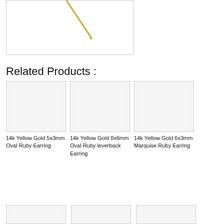[Figure (photo): Partial view of a gold earring product image with a thin gold pin/wire visible against white background]
Related Products :
[Figure (photo): Product image placeholder for 14k Yellow Gold 5x3mm Oval Ruby Earring]
14k Yellow Gold 5x3mm Oval Ruby Earring
[Figure (photo): Product image placeholder for 14k Yellow Gold 8x6mm Oval Ruby leverback Earring]
14k Yellow Gold 8x6mm Oval Ruby leverback Earring
[Figure (photo): Product image placeholder for 14k Yellow Gold 6x3mm Marquise Ruby Earring]
14k Yellow Gold 6x3mm Marquise Ruby Earring
[Figure (photo): Product image placeholder row 2 item 1]
[Figure (photo): Product image placeholder row 2 item 2]
[Figure (photo): Product image placeholder row 2 item 3]